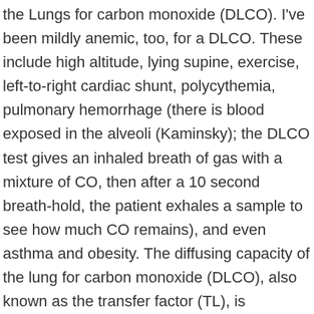the Lungs for carbon monoxide (DLCO). I've been mildly anemic, too, for a DLCO. These include high altitude, lying supine, exercise, left-to-right cardiac shunt, polycythemia, pulmonary hemorrhage (there is blood exposed in the alveoli (Kaminsky); the DLCO test gives an inhaled breath of gas with a mixture of CO, then after a 10 second breath-hold, the patient exhales a sample to see how much CO remains), and even asthma and obesity. The diffusing capacity of the lung for carbon monoxide (DLCO), also known as the transfer factor (TL), is commonly recognized as an indicator of the gas exchange function of the lungs. capillary plasma, Diffusion across the red cell membrane and within By Gerald S. Davis and Elizabeth A. Seward. Compared with placebo, enalapril caused an increase of FEV 1, MVV, and DLCO in chronic